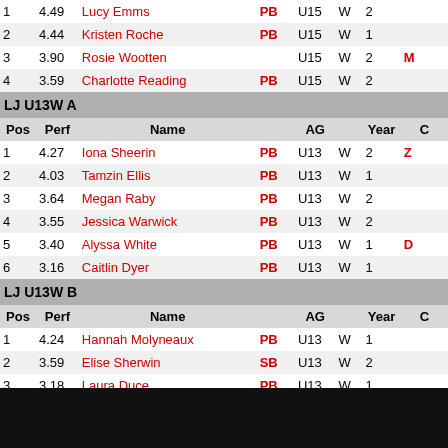| Pos | Perf | Name |  | AG |  | Year | C |
| --- | --- | --- | --- | --- | --- | --- | --- |
| 1 | 4.49 | Lucy Emms | PB | U15 | W | 2 |  |
| 2 | 4.44 | Kristen Roche | PB | U15 | W | 1 |  |
| 3 | 3.90 | Rosie Wootten |  | U15 | W | 2 | M |
| 4 | 3.59 | Charlotte Reading | PB | U15 | W | 2 |  |
LJ U13W A
| Pos | Perf | Name |  | AG |  | Year | C |
| --- | --- | --- | --- | --- | --- | --- | --- |
| 1 | 4.27 | Iona Sheerin | PB | U13 | W | 2 | Z |
| 2 | 4.03 | Tamzin Ellis | PB | U13 | W | 1 |  |
| 3 | 3.64 | Megan Raby | PB | U13 | W | 2 |  |
| 4 | 3.55 | Jessica Warwick | PB | U13 | W | 2 |  |
| 5 | 3.40 | Alyssa White | PB | U13 | W | 1 | D |
| 6 | 3.16 | Caitlin Dyer | PB | U13 | W | 1 |  |
LJ U13W B
| Pos | Perf | Name |  | AG |  | Year | C |
| --- | --- | --- | --- | --- | --- | --- | --- |
| 1 | 4.24 | Hannah Molyneaux | PB | U13 | W | 1 |  |
| 2 | 3.59 | Elise Sherwin | SB | U13 | W | 2 |  |
| 3 | 3.18 | Laura Duce | PB | U13 | W | 1 |  |
| 4 | 2.94 | Isabel Sherrell | PB | U11 | W | -1 |  |
| 5 | 2.62 | Anna Hains |  | U13 | W | 2 |  |